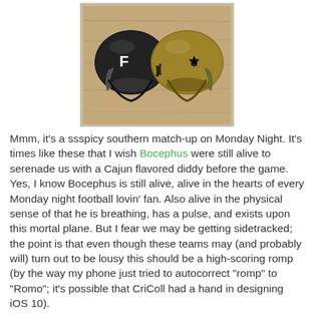[Figure (photo): Two miniature NFL football helmets side by side on a wooden surface — a black Atlanta Falcons helmet on the left and a gold New Orleans Saints helmet on the right.]
Mmm, it's a ssspicy southern match-up on Monday Night. It's times like these that I wish Bocephus were still alive to serenade us with a Cajun flavored diddy before the game. Yes, I know Bocephus is still alive, alive in the hearts of every Monday night football lovin' fan. Also alive in the physical sense of that he is breathing, has a pulse, and exists upon this mortal plane. But I fear we may be getting sidetracked; the point is that even though these teams may (and probably will) turn out to be lousy this should be a high-scoring romp (by the way my phone just tried to autocorrect "romp" to "Romo"; it's possible that CriColl had a hand in designing iOS 10).
Saints 34-30